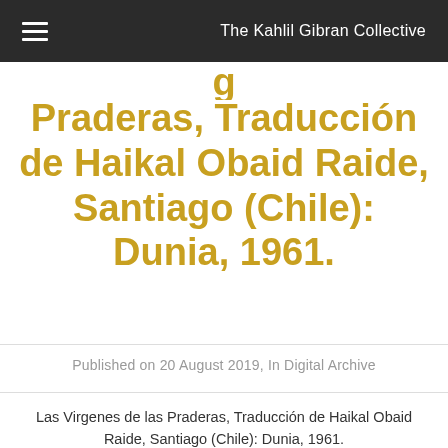The Kahlil Gibran Collective
Praderas, Traducción de Haikal Obaid Raide, Santiago (Chile): Dunia, 1961.
Published on 20 August 2019, In Digital Archive
Las Virgenes de las Praderas, Traducción de Haikal Obaid Raide, Santiago (Chile): Dunia, 1961.